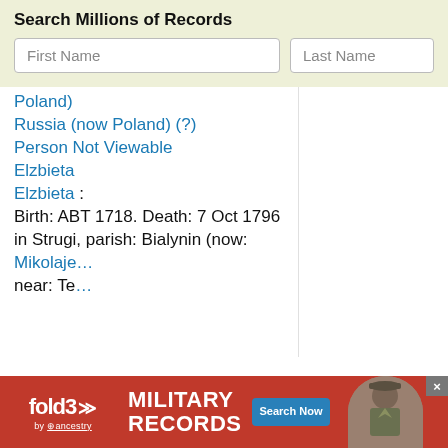Search Millions of Records
Poland)
Russia (now Poland) (?)
Person Not Viewable
Elzbieta
Elzbieta : Birth: ABT 1718. Death: 7 Oct 1796 in Strugi, parish: Bialynin (now: Mikolajewice) near: Te...
[Figure (screenshot): fold3 by Ancestry Military Records advertisement banner with Search Now button and soldier photo]